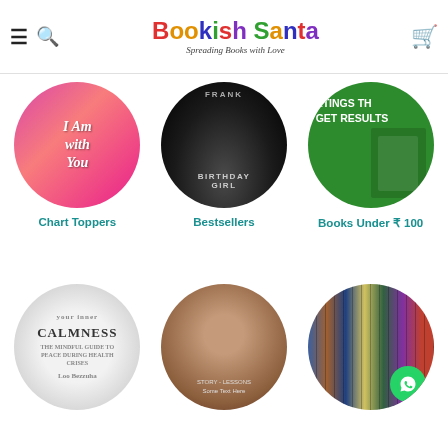[Figure (screenshot): Bookish Santa website header with hamburger menu, search icon, colorful logo 'Bookish Santa' with tagline 'Spreading Books with Love', and cart icon]
[Figure (screenshot): Three circular book category thumbnails: 'I Am with You' (pink), 'Birthday Girl' (dark/black), 'Greetings That Get Results' (green)]
Chart Toppers
Bestsellers
Books Under ₹ 100
[Figure (screenshot): Three circular book category thumbnails: Calmness book cover (grayscale), a woman's face (brown tones), bookshelf with WhatsApp icon overlay]